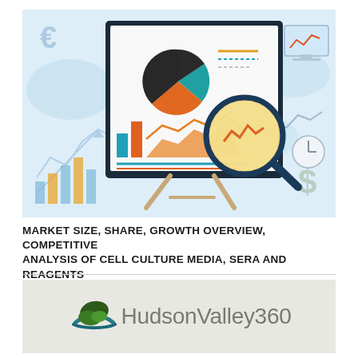[Figure (illustration): A market research/analytics infographic illustration showing a presentation board/easel with a pie chart, bar chart, and magnifying glass. Background has various financial and analytics icons including currency symbols, line graphs, clocks, and world map elements. Color palette includes orange, teal, dark navy, gold, and light blue.]
MARKET SIZE, SHARE, GROWTH OVERVIEW, COMPETITIVE ANALYSIS OF CELL CULTURE MEDIA, SERA AND REAGENTS
[Figure (logo): HudsonValley360 logo: a circular leaf/nature emblem in dark green and teal on the left, followed by the text 'HudsonValley360' in gray on a light gray-beige background panel.]